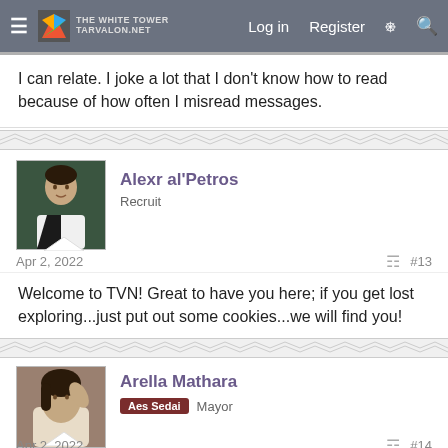TARVALON.NET — Log in  Register
I can relate. I joke a lot that I don't know how to read because of how often I misread messages.
[Figure (photo): Avatar of Alexr al'Petros — young man in black and white outfit against dark green background]
Alexr al'Petros
Recruit
Apr 2, 2022    #13
Welcome to TVN! Great to have you here; if you get lost exploring...just put out some cookies...we will find you!
[Figure (photo): Avatar of Arella Mathara — woman in white dress, classical painting style]
Arella Mathara
Aes Sedai  Mayor
Apr 2, 2022    #14